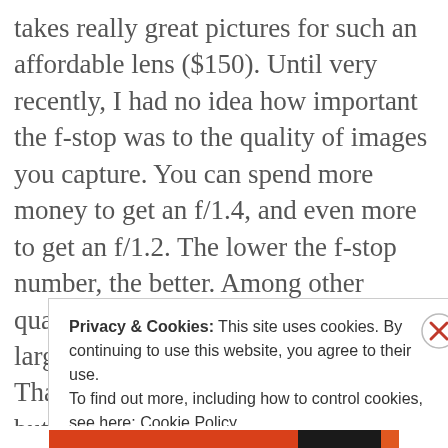takes really great pictures for such an affordable lens ($150). Until very recently, I had no idea how important the f-stop was to the quality of images you capture. You can spend more money to get an f/1.4, and even more to get an f/1.2. The lower the f-stop number, the better. Among other qualities, small f-stop lenses have larger and higher quality apertures. Thankfully, my f/1.8 lens was cheap, but it
Privacy & Cookies: This site uses cookies. By continuing to use this website, you agree to their use.
To find out more, including how to control cookies, see here: Cookie Policy